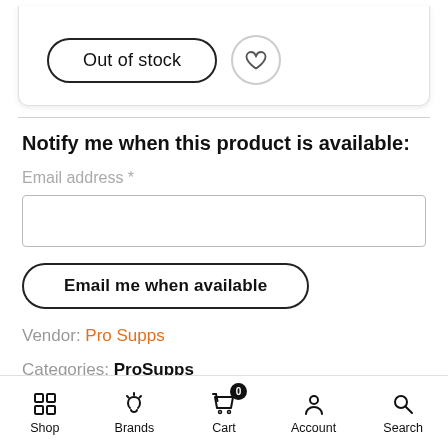[Figure (screenshot): Out of stock button with heart/wishlist icon button]
Notify me when this product is available:
Email address *
Email me when available
Vendor: Pro Supps
Categories: ProSupps
Shop  Brands  Cart  Account  Search